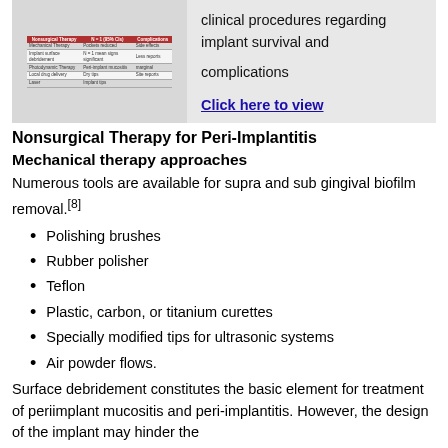[Figure (table-as-image): Thumbnail of a table related to clinical procedures regarding implant survival and complications, with a link to view it.]
clinical procedures regarding implant survival and complications
Click here to view
Nonsurgical Therapy for Peri-Implantitis
Mechanical therapy approaches
Numerous tools are available for supra and sub gingival biofilm removal.[8]
Polishing brushes
Rubber polisher
Teflon
Plastic, carbon, or titanium curettes
Specially modified tips for ultrasonic systems
Air powder flows.
Surface debridement constitutes the basic element for treatment of periimplant mucositis and peri-implantitis. However, the design of the implant may hinder the